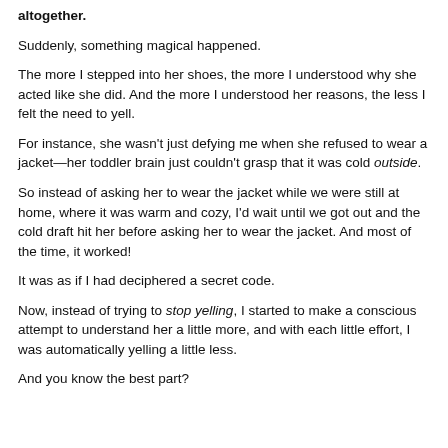altogether.
Suddenly, something magical happened.
The more I stepped into her shoes, the more I understood why she acted like she did. And the more I understood her reasons, the less I felt the need to yell.
For instance, she wasn't just defying me when she refused to wear a jacket—her toddler brain just couldn't grasp that it was cold outside.
So instead of asking her to wear the jacket while we were still at home, where it was warm and cozy, I'd wait until we got out and the cold draft hit her before asking her to wear the jacket. And most of the time, it worked!
It was as if I had deciphered a secret code.
Now, instead of trying to stop yelling, I started to make a conscious attempt to understand her a little more, and with each little effort, I was automatically yelling a little less.
And you know the best part?